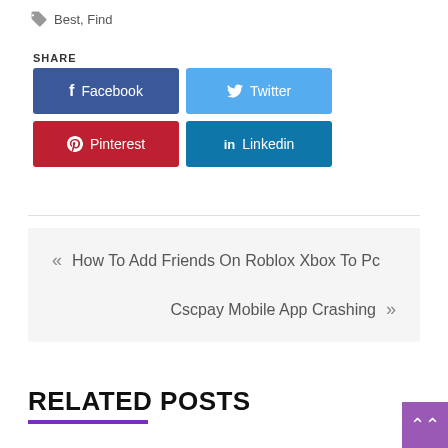Best, Find
SHARE
Facebook  Twitter  Pinterest  Linkedin
« How To Add Friends On Roblox Xbox To Pc
Cscpay Mobile App Crashing »
RELATED POSTS